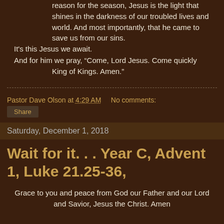reason for the season, Jesus is the light that shines in the darkness of our troubled lives and world.  And most importantly, that he came to save us from our sins.
It's this Jesus we await.
And for him we pray, “Come, Lord Jesus.  Come quickly King of Kings.  Amen.”
Pastor Dave Olson at 4:29 AM    No comments:
Share
Saturday, December 1, 2018
Wait for it. . . Year C, Advent 1, Luke 21.25-36,
Grace to you and peace from God our Father and our Lord and Savior, Jesus the Christ.  Amen